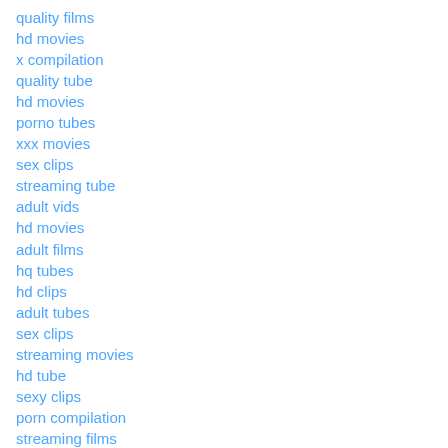quality films
hd movies
x compilation
quality tube
hd movies
porno tubes
xxx movies
sex clips
streaming tube
adult vids
hd movies
adult films
hq tubes
hd clips
adult tubes
sex clips
streaming movies
hd tube
sexy clips
porn compilation
streaming films
porno films
porn films
sex films
hot clips